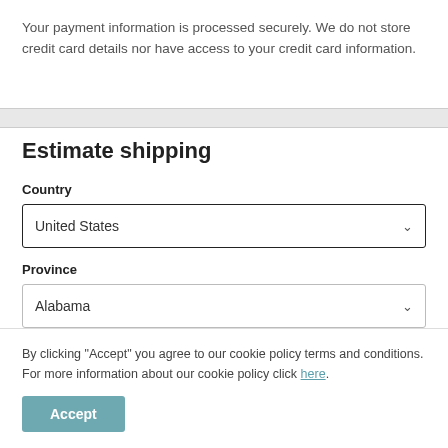Your payment information is processed securely. We do not store credit card details nor have access to your credit card information.
Estimate shipping
Country
United States
Province
Alabama
By clicking "Accept" you agree to our cookie policy terms and conditions. For more information about our cookie policy click here.
Accept